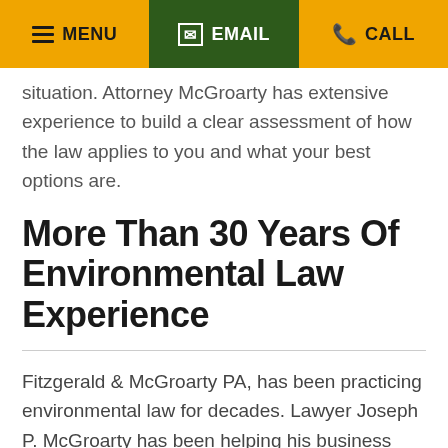MENU  EMAIL  CALL
situation. Attorney McGroarty has extensive experience to build a clear assessment of how the law applies to you and what your best options are.
More Than 30 Years Of Environmental Law Experience
Fitzgerald & McGroarty PA, has been practicing environmental law for decades. Lawyer Joseph P. McGroarty has been helping his business clients with the most challenging